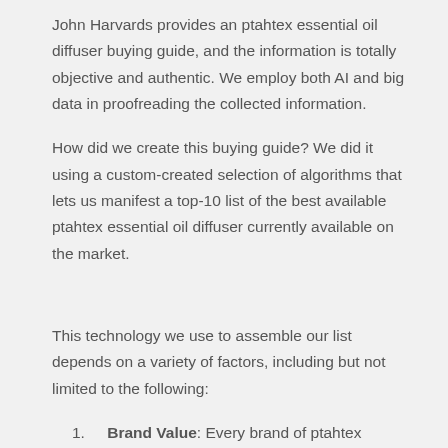John Harvards provides an ptahtex essential oil diffuser buying guide, and the information is totally objective and authentic. We employ both AI and big data in proofreading the collected information.
How did we create this buying guide? We did it using a custom-created selection of algorithms that lets us manifest a top-10 list of the best available ptahtex essential oil diffuser currently available on the market.
This technology we use to assemble our list depends on a variety of factors, including but not limited to the following:
Brand Value: Every brand of ptahtex essential oil diffuser has a value all its own. Most brands offer